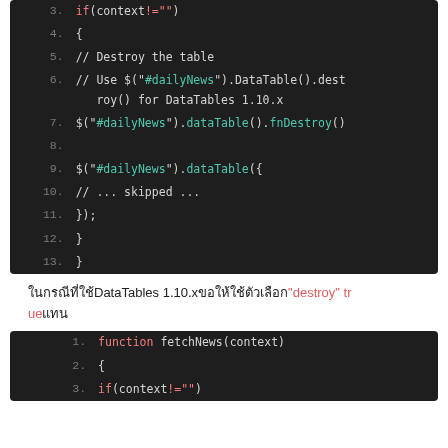[Figure (screenshot): Code block showing JavaScript lines 3-13 with syntax highlighting on dark background. Lines show if(context!=''), braces, comments about destroying a DataTable, jQuery dataTable fnDestroy call, then re-initialization with skipped options.]
ในกรณีที่ใช้DataTables 1.10.xขอให้ใช้ตัวเลือก"destroy" true แทน
[Figure (screenshot): Code block showing JavaScript lines 1-3 with syntax highlighting on dark background. Lines show: function fetchNews(context), {, if(context!='')]